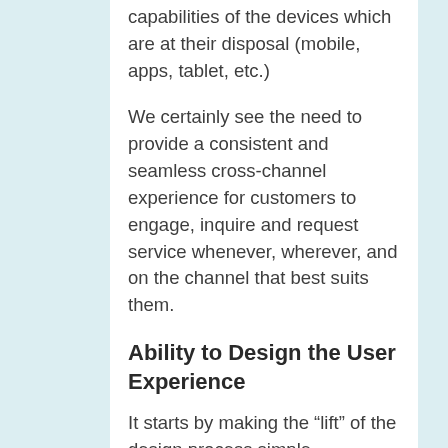capabilities of the devices which are at their disposal (mobile, apps, tablet, etc.)
We certainly see the need to provide a consistent and seamless cross-channel experience for customers to engage, inquire and request service whenever, wherever, and on the channel that best suits them.
Ability to Design the User Experience
It starts by making the “lift” of the design process simple. Empowering your team with the convenience of